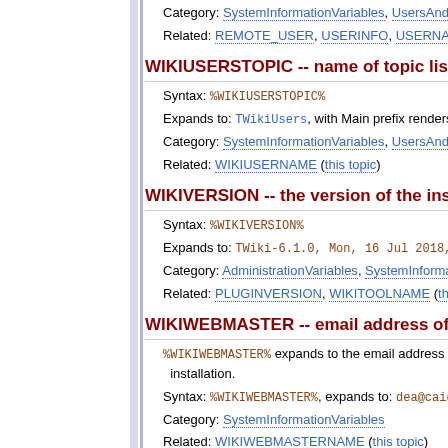Category: SystemInformationVariables, UsersAndAuth...
Related: REMOTE_USER, USERINFO, USERNAME, ...
WIKIUSERSTOPIC -- name of topic listing al...
Syntax: %WIKIUSERSTOPIC%
Expands to: TWikiUsers, with Main prefix renders as T...
Category: SystemInformationVariables, UsersAndAuth...
Related: WIKIUSERNAME (this topic)
WIKIVERSION -- the version of the installed...
Syntax: %WIKIVERSION%
Expands to: TWiki-6.1.0, Mon, 16 Jul 2018, build 3...
Category: AdministrationVariables, SystemInformation...
Related: PLUGINVERSION, WIKITOOLNAME (this to...
WIKIWEBMASTER -- email address of the a...
%WIKIWEBMASTER% expands to the email address of the a... installation.
Syntax: %WIKIWEBMASTER%, expands to: dea@caida.org
Category: SystemInformationVariables
Related: WIKIWEBMASTERNAME (this topic)